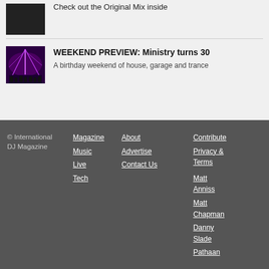Check out the Original Mix inside
WEEKEND PREVIEW: Ministry turns 30
A birthday weekend of house, garage and trance
© International DJ Magazine
Magazine
Music
Live
Tech
About
Advertise
Contact Us
Contribute
Privacy & Terms
Matt Anniss
Matt Chapman
Danny Slade
Pathaan